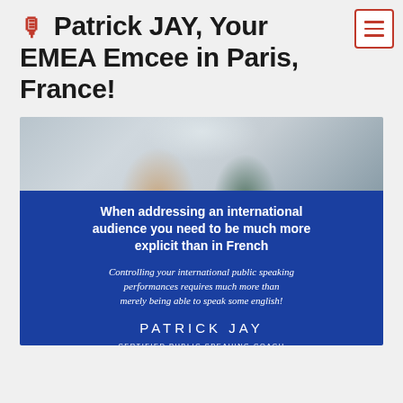Navigation menu button
🎤 Patrick JAY, Your EMEA Emcee in Paris, France!
[Figure (infographic): Advertisement image for Patrick JAY showing hands gesturing at top (photo), then a blue section with text: 'When addressing an international audience you need to be much more explicit than in French' / italic text 'Controlling your international public speaking performances requires much more than merely being able to speak some english!' / PATRICK JAY / CERTIFIED PUBLIC SPEAKING COACH / MOVE UP THE SUCCESS LADDER! / www.your-emcee-in-paris.eu]